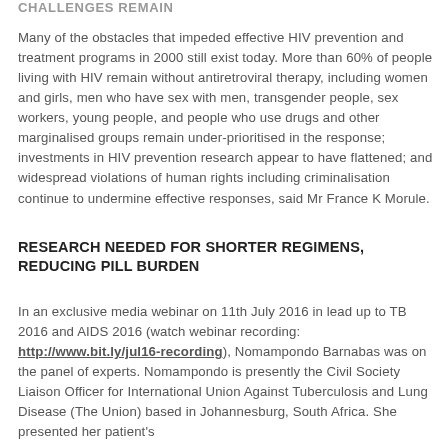CHALLENGES REMAIN
Many of the obstacles that impeded effective HIV prevention and treatment programs in 2000 still exist today. More than 60% of people living with HIV remain without antiretroviral therapy, including women and girls, men who have sex with men, transgender people, sex workers, young people, and people who use drugs and other marginalised groups remain under-prioritised in the response; investments in HIV prevention research appear to have flattened; and widespread violations of human rights including criminalisation continue to undermine effective responses, said Mr France K Morule.
RESEARCH NEEDED FOR SHORTER REGIMENS, REDUCING PILL BURDEN
In an exclusive media webinar on 11th July 2016 in lead up to TB 2016 and AIDS 2016 (watch webinar recording: http://www.bit.ly/jul16-recording), Nomampondo Barnabas was on the panel of experts. Nomampondo is presently the Civil Society Liaison Officer for International Union Against Tuberculosis and Lung Disease (The Union) based in Johannesburg, South Africa. She presented her patient's